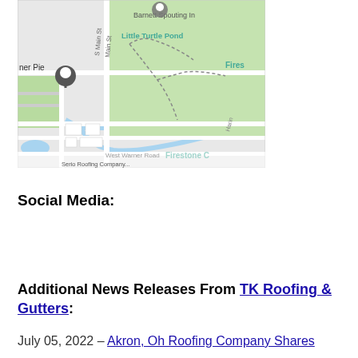[Figure (map): Google Maps screenshot showing area around West Warner Road, Akron Ohio, with Firestone Park, Little Turtle Pond, Barnett Spouting Inc marker visible. Location pin shown on left side near 'ner Pie' label.]
Social Media:
Additional News Releases From TK Roofing & Gutters:
July 05, 2022 – Akron, Oh Roofing Company Shares